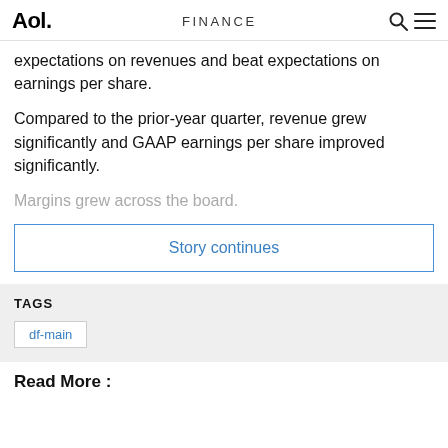Aol. FINANCE
expectations on revenues and beat expectations on earnings per share.
Compared to the prior-year quarter, revenue grew significantly and GAAP earnings per share improved significantly.
Margins grew across the board.
Story continues
TAGS
df-main
Read More :